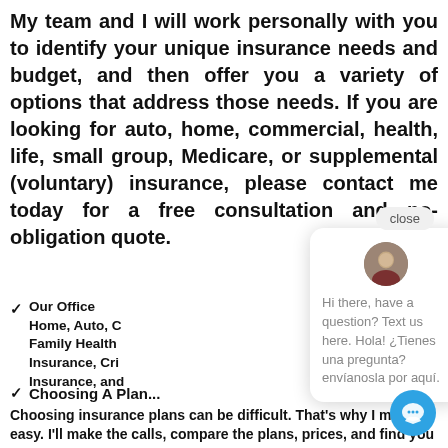My team and I will work personally with you to identify your unique insurance needs and budget, and then offer you a variety of options that address those needs. If you are looking for auto, home, commercial, health, life, small group, Medicare, or supplemental (voluntary) insurance, please contact me today for a free consultation and no-obligation quote.
Our Office … Home, Auto, C… Family Health… Insurance, Cri… Insurance, and…
Choosing A Plan… Choosing insurance plans can be difficult. That's why I make it easy. I'll make the calls, compare the plans, prices, and find you the insurance plan that fits your needs. Best of all, my help is at no cost to you.
[Figure (screenshot): Chat popup overlay with close button and avatar showing bilingual greeting: 'Hi there, have a question? Text us here. Hola! ¿Tienes una pregunta? envíanosla por aquí.']
[Figure (other): Blue circular chat/messaging FAB button in bottom right corner]